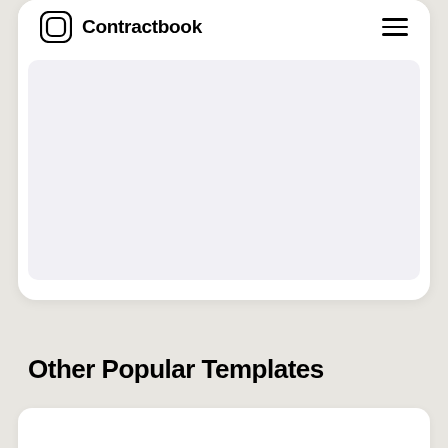[Figure (logo): Contractbook logo with rounded square icon and wordmark]
[Figure (screenshot): Light purple/gray content area inside the white card, representing a document preview area]
Other Popular Templates
[Figure (screenshot): Bottom white card partially visible]